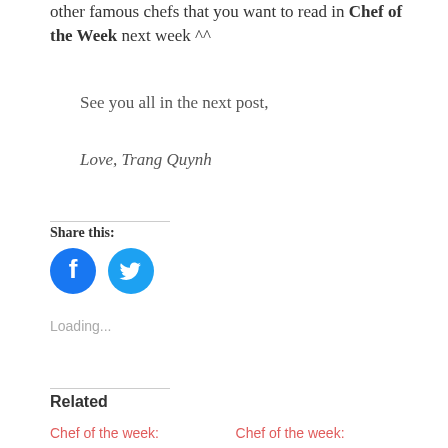other famous chefs that you want to read in Chef of the Week next week ^^
See you all in the next post,
Love, Trang Quynh
Share this:
[Figure (illustration): Facebook and Twitter social share icon buttons — blue circles with white logos]
Loading...
Related
Chef of the week:
Chef of the week: